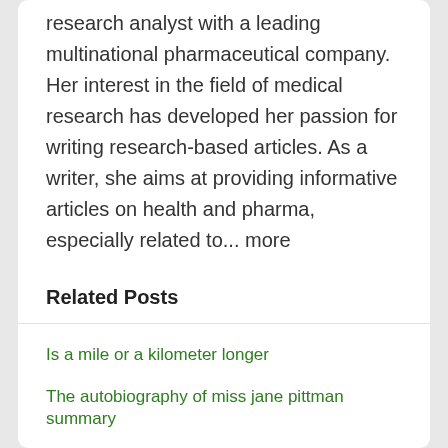research analyst with a leading multinational pharmaceutical company. Her interest in the field of medical research has developed her passion for writing research-based articles. As a writer, she aims at providing informative articles on health and pharma, especially related to... more
Related Posts
Is a mile or a kilometer longer
The autobiography of miss jane pittman summary